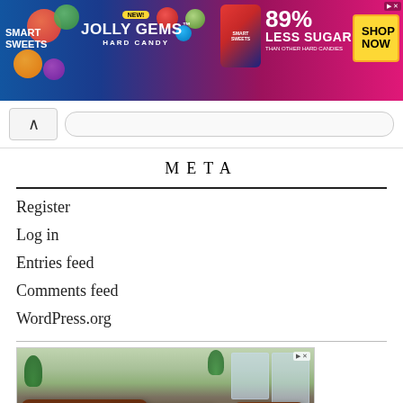[Figure (photo): SmartSweets Jolly Gems Hard Candy advertisement banner. Blue and pink background with candy imagery, '89% Less Sugar than other hard candies' text, and a yellow 'Shop Now' button.]
[Figure (screenshot): Browser navigation bar with back button (caret/chevron up icon) and URL bar.]
META
Register
Log in
Entries feed
Comments feed
WordPress.org
[Figure (photo): Advertisement showing a living room furniture set with brown leather recliner sofas, a wooden coffee table, and a patterned area rug. Indoor setting with plants and windows in background.]